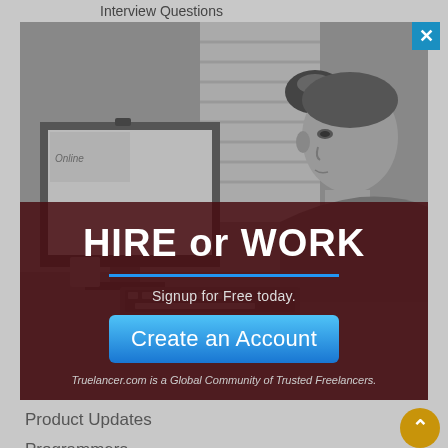Interview Questions
[Figure (screenshot): A popup advertisement overlay showing a young man working at a computer desk with monitor, keyboard and lamp in grayscale photo. The ad promotes Truelancer.com freelancing platform.]
HIRE or WORK
Signup for Free today.
Create an Account
Truelancer.com is a Global Community of Trusted Freelancers.
Product Updates
Programmers